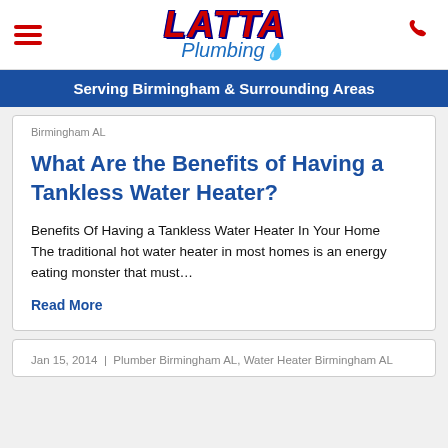Latta Plumbing
Serving Birmingham & Surrounding Areas
Birmingham AL
What Are the Benefits of Having a Tankless Water Heater?
Benefits Of Having a Tankless Water Heater In Your Home
The traditional hot water heater in most homes is an energy eating monster that must...
Read More
Jan 15, 2014 | Plumber Birmingham AL, Water Heater Birmingham AL